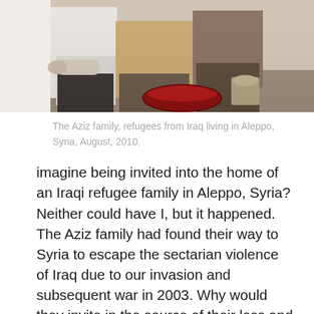[Figure (photo): Partial view of the Aziz family, refugees from Iraq, sitting together. Three people visible from mid-torso down, gathered around what appears to be a table with food/drink items including a red bowl.]
The Aziz family, refugees from Iraq living in Aleppo, Syria, August, 2010.
imagine being invited into the home of an Iraqi refugee family in Aleppo, Syria? Neither could have I, but it happened. The Aziz family had found their way to Syria to escape the sectarian violence of Iraq due to our invasion and subsequent war in 2003. Why would they invite in the source of their loss and pain? Why would they use their meager treasure to prepare a banquet for us? Why would they let us share their dreams of a bigger and better life for their lively son Martin? Why indeed.